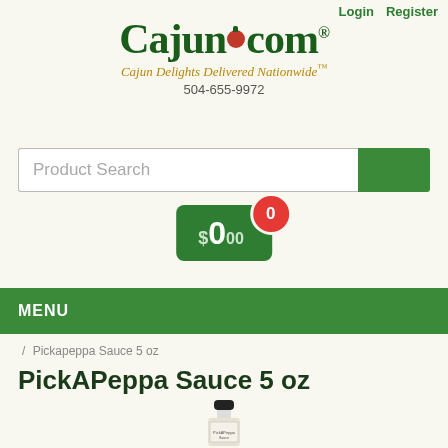Login  Register
[Figure (logo): Cajun.com logo with red tomato dot, tagline 'Cajun Delights Delivered Nationwide™', phone 504-655-9972]
[Figure (screenshot): Product Search input bar with green search button]
[Figure (infographic): Green cart button showing $0.00 with red badge showing 0]
MENU
/ Pickapeppa Sauce 5 oz
PickAPeppa Sauce 5 oz
[Figure (photo): Small bottle of PickAPeppa Sauce with black cap and label]